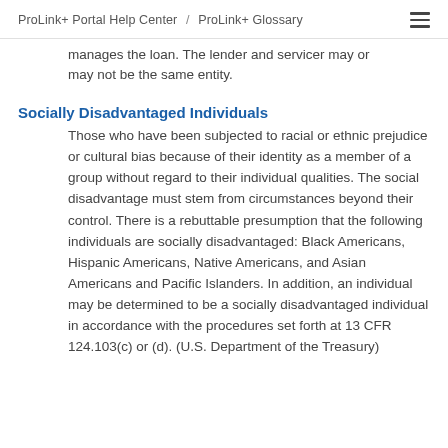ProLink+ Portal Help Center / ProLink+ Glossary
manages the loan. The lender and servicer may or may not be the same entity.
Socially Disadvantaged Individuals
Those who have been subjected to racial or ethnic prejudice or cultural bias because of their identity as a member of a group without regard to their individual qualities. The social disadvantage must stem from circumstances beyond their control. There is a rebuttable presumption that the following individuals are socially disadvantaged: Black Americans, Hispanic Americans, Native Americans, and Asian Americans and Pacific Islanders. In addition, an individual may be determined to be a socially disadvantaged individual in accordance with the procedures set forth at 13 CFR 124.103(c) or (d). (U.S. Department of the Treasury)